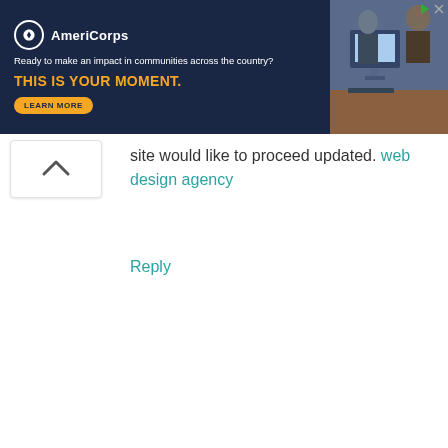[Figure (screenshot): AmeriCorps advertisement banner with dark navy background. Shows AmeriCorps logo with circular emblem, text 'Ready to make an impact in communities across the country?', bold orange text 'THIS IS YOUR MOMENT.', a 'LEARN MORE' button, and a photo of students at computers on the right side.]
site would like to proceed updated. web design agency
Reply